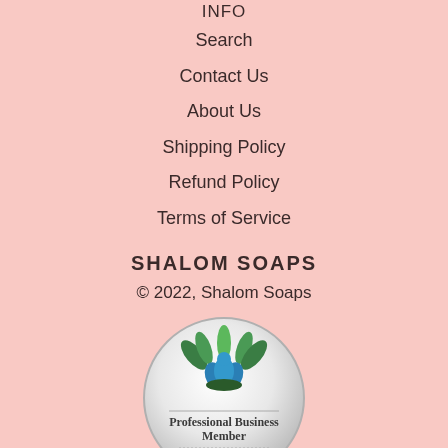INFO
Search
Contact Us
About Us
Shipping Policy
Refund Policy
Terms of Service
SHALOM SOAPS
© 2022, Shalom Soaps
[Figure (logo): Professional Business Member - Handcrafted Bath & Body Guild circular badge with a plant/lotus logo in blue and green]